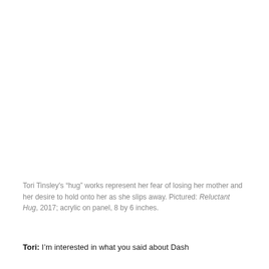Tori Tinsley's “hug” works represent her fear of losing her mother and her desire to hold onto her as she slips away. Pictured: Reluctant Hug, 2017; acrylic on panel, 8 by 6 inches.
Tori: I’m interested in what you said about Dash